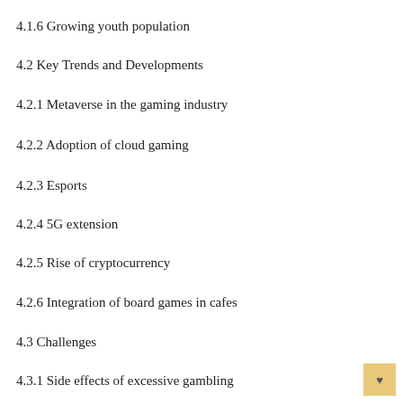4.1.6 Growing youth population
4.2 Key Trends and Developments
4.2.1 Metaverse in the gaming industry
4.2.2 Adoption of cloud gaming
4.2.3 Esports
4.2.4 5G extension
4.2.5 Rise of cryptocurrency
4.2.6 Integration of board games in cafes
4.3 Challenges
4.3.1 Side effects of excessive gambling